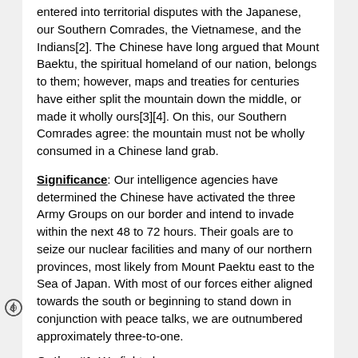entered into territorial disputes with the Japanese, our Southern Comrades, the Vietnamese, and the Indians[2].  The Chinese have long argued that Mount Baektu, the spiritual homeland of our nation, belongs to them; however, maps and treaties for centuries have either split the mountain down the middle, or made it wholly ours[3][4].  On this, our Southern Comrades agree: the mountain must not be wholly consumed in a Chinese land grab.
Significance:  Our intelligence agencies have determined the Chinese have activated the three Army Groups on our border and intend to invade within the next 48 to 72 hours.  Their goals are to seize our nuclear facilities and many of our northern provinces, most likely from Mount Paektu east to the Sea of Japan.  With most of our forces either aligned towards the south or beginning to stand down in conjunction with peace talks, we are outnumbered approximately three-to-one.
Option #1:  We fight alone.
Risk:  This is a high risk answer because we do not have enough forces to credibly threaten the enemy at the...